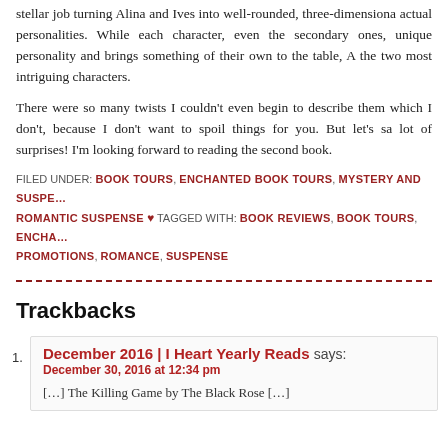stellar job turning Alina and Ives into well-rounded, three-dimensional actual personalities. While each character, even the secondary ones, unique personality and brings something of their own to the table, A the two most intriguing characters.
There were so many twists I couldn't even begin to describe them which I don't, because I don't want to spoil things for you. But let's say lot of surprises! I'm looking forward to reading the second book.
FILED UNDER: BOOK TOURS, ENCHANTED BOOK TOURS, MYSTERY AND SUSPENSE, ROMANTIC SUSPENSE ♥ TAGGED WITH: BOOK REVIEWS, BOOK TOURS, ENCHANTED PROMOTIONS, ROMANCE, SUSPENSE
Trackbacks
1. December 2016 | I Heart Yearly Reads says: December 30, 2016 at 12:34 pm [...] The Killing Game by The Black Rose [...]